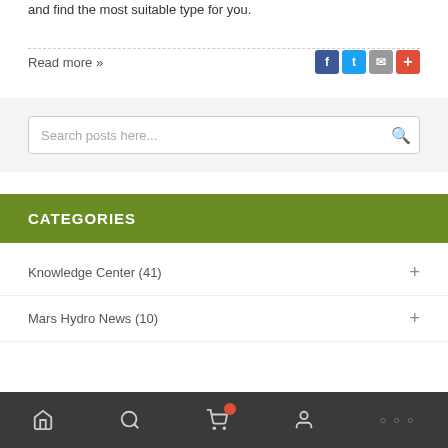and find the most suitable type for you.
Read more »
Search posts here...
CATEGORIES
Knowledge Center (41)
Mars Hydro News (10)
Navigation bar with home, search, cart, account, and more icons